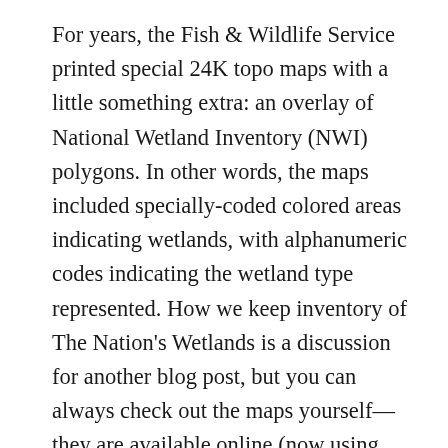For years, the Fish & Wildlife Service printed special 24K topo maps with a little something extra: an overlay of National Wetland Inventory (NWI) polygons. In other words, the maps included specially-coded colored areas indicating wetlands, with alphanumeric codes indicating the wetland type represented. How we keep inventory of The Nation's Wetlands is a discussion for another blog post, but you can always check out the maps yourself—they are available online (now using aerial photos as the base, rather than topo maps) at the NWI Mapper website. This is a useful tool, but be aware that it simply doesn't have the resolution nor is it sufficiently up-to-date for much of the work of wetland science. Still, it